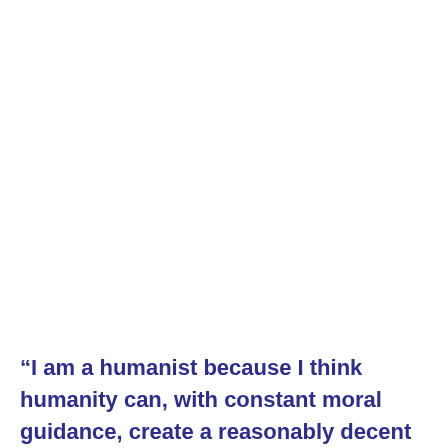“I am a humanist because I think humanity can, with constant moral guidance, create a reasonably decent